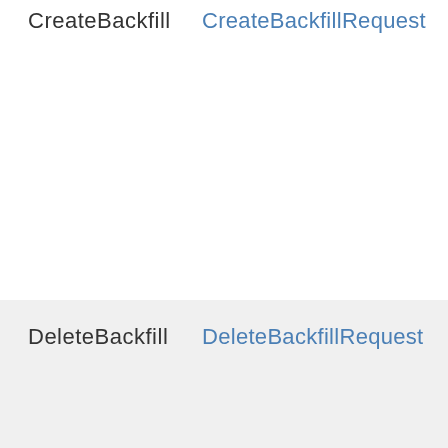CreateBackfill
CreateBackfillRequest
DeleteBackfill
DeleteBackfillRequest